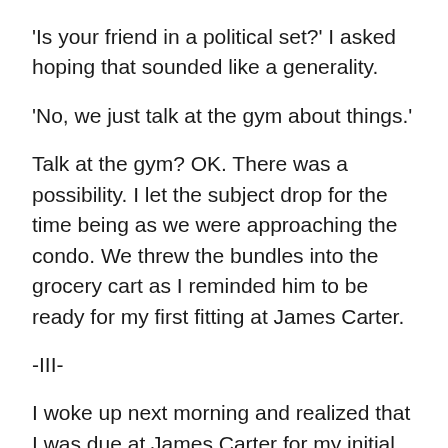'Is your friend in a political set?' I asked hoping that sounded like a generality.
'No, we just talk at the gym about things.'
Talk at the gym? OK. There was a possibility. I let the subject drop for the time being as we were approaching the condo. We threw the bundles into the grocery cart as I reminded him to be ready for my first fitting at James Carter.
-III-
I woke up next morning and realized that I was due at James Carter for my initial fitting. I looked forward eagerly to the thought of realizing my desire for a bespoke suit, still, other thoughts crowded my mind. I wondered what my real reason was for being in New York. Yes, I was